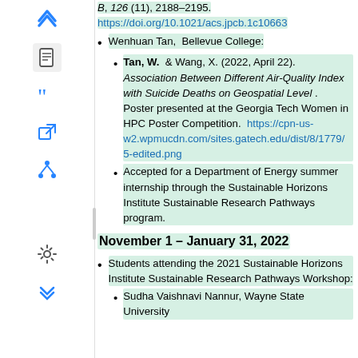B, 126 (11), 2188–2195. https://doi.org/10.1021/acs.jpcb.1c10663
Wenhuan Tan, Bellevue College:
Tan, W. & Wang, X. (2022, April 22). Association Between Different Air-Quality Index with Suicide Deaths on Geospatial Level. Poster presented at the Georgia Tech Women in HPC Poster Competition. https://cpn-us-w2.wpmucdn.com/sites.gatech.edu/dist/8/1779/5-edited.png
Accepted for a Department of Energy summer internship through the Sustainable Horizons Institute Sustainable Research Pathways program.
November 1 – January 31, 2022
Students attending the 2021 Sustainable Horizons Institute Sustainable Research Pathways Workshop:
Sudha Vaishnavi Nannur, Wayne State University